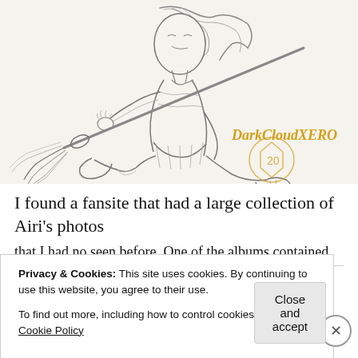[Figure (illustration): Pencil sketch illustration of an anime-style girl riding a broomstick, wearing a school uniform. She is mid-flight, leaning forward with hair flowing behind her. A golden 'DarkCloudXERO' watermark and a dice logo appear in the lower right of the illustration.]
I found a fansite that had a large collection of Airi's photos
that I had no seen before. One of the albums contained
Privacy & Cookies: This site uses cookies. By continuing to use this website, you agree to their use.
To find out more, including how to control cookies, see here: Cookie Policy
Close and accept